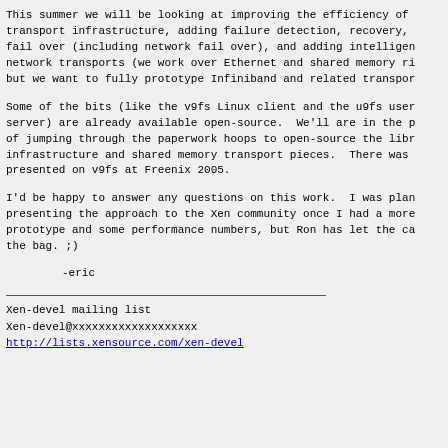This summer we will be looking at improving the efficiency of transport infrastructure, adding failure detection, recovery, fail over (including network fail over), and adding intelligence to network transports (we work over Ethernet and shared memory rings but we want to fully prototype Infiniband and related transports).
Some of the bits (like the v9fs Linux client and the u9fs user server) are already available open-source.  We'll are in the process of jumping through the paperwork hoops to open-source the library infrastructure and shared memory transport pieces.  There was a paper presented on v9fs at Freenix 2005.
I'd be happy to answer any questions on this work.  I was planning on presenting the approach to the Xen community once I had a more solid prototype and some performance numbers, but Ron has let the cat out of the bag. ;)
-eric
Xen-devel mailing list
Xen-devel@xxxxxxxxxxxxxxxxxxx
http://lists.xensource.com/xen-devel